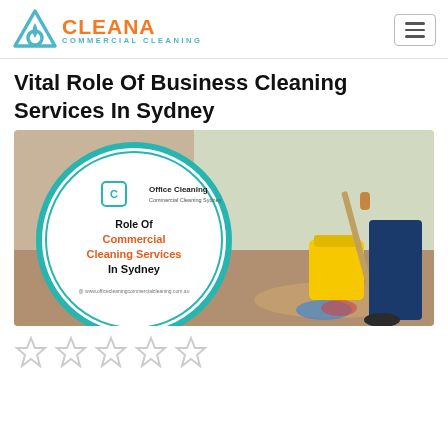[Figure (logo): Cleana Commercial Cleaning logo with teal triangle/droplet icon and orange CLEANA text, teal COMMERCIAL CLEANING subtitle]
[Figure (photo): Composite image: left side shows a circular infographic badge with teal border reading 'Role Of Commercial Cleaning Services In Sydney' with Office Cleaning Commercial Cleaning Sydney logo; right side shows a person in blue uniform mopping a shiny floor next to a yellow mop bucket]
Vital Role Of Business Cleaning Services In Sydney
[Figure (other): Five empty star rating icons]